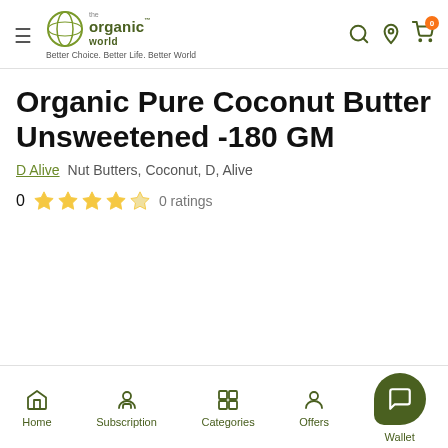the organic world — Better Choice. Better Life. Better World
Organic Pure Coconut Butter Unsweetened -180 GM
D Alive   Nut Butters, Coconut, D, Alive
0  ★★★★★  0 ratings
Home  Subscription  Categories  Offers  Wallet